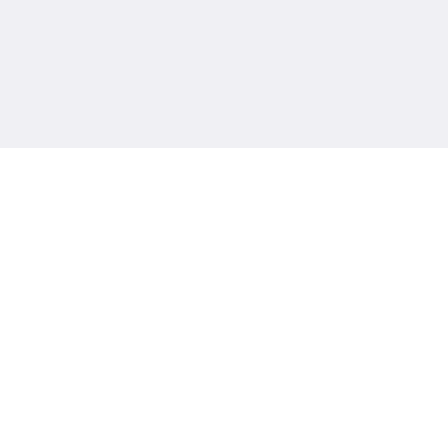3/14/16 N
SVR ACH
CURED Y
Bree
Member
Posts: 576
"Today is a good day for a great day!"
[Figure (photo): Profile photo showing colorful flowers — pink, red, and yellow daisies/gerberas with green centers]
Re:
Sta
« Reply #4
Cal, I se
A few of
conquer
to heal a
though
Dx 1997 G
2002-2003
Pre-Harvo
Fibrosure
7/6/15 Sta
10/5/15 H
11/9/15 N